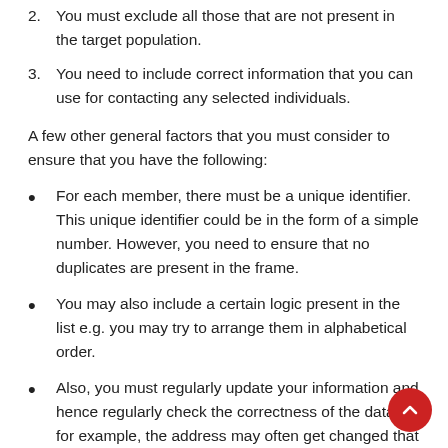2. You must exclude all those that are not present in the target population.
3. You need to include correct information that you can use for contacting any selected individuals.
A few other general factors that you must consider to ensure that you have the following:
For each member, there must be a unique identifier. This unique identifier could be in the form of a simple number. However, you need to ensure that no duplicates are present in the frame.
You may also include a certain logic present in the list e.g. you may try to arrange them in alphabetical order.
Also, you must regularly update your information and hence regularly check the correctness of the data, for example, the address may often get changed that